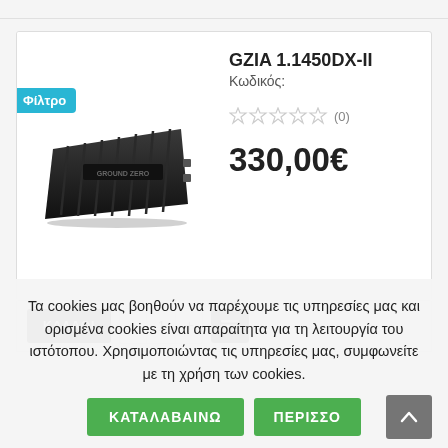[Figure (photo): Black car amplifier (Ground Zero GZIA 1.1450DX-II) on white background]
GZIA 1.1450DX-II
Κωδικός:
(0) stars rating
330,00€
Τα cookies μας βοηθούν να παρέχουμε τις υπηρεσίες μας και ορισμένα cookies είναι απαραίτητα για τη λειτουργία του ιστότοπου. Χρησιμοποιώντας τις υπηρεσίες μας, συμφωνείτε με τη χρήση των cookies.
ΚΑΤΑΛΑΒΑΙΝΩ
ΠΕΡΙΣΣΟ…